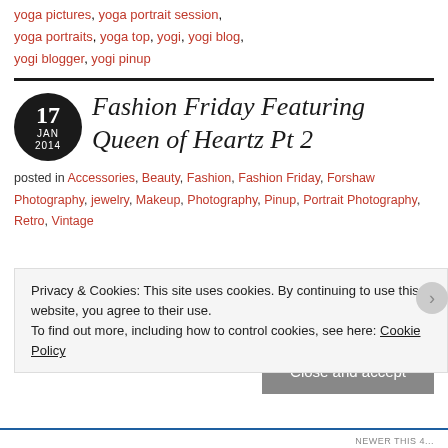yoga pictures, yoga portrait session, yoga portraits, yoga top, yogi, yogi blog, yogi blogger, yogi pinup
Fashion Friday Featuring Queen of Heartz Pt 2
posted in Accessories, Beauty, Fashion, Fashion Friday, Forshaw Photography, jewelry, Makeup, Photography, Pinup, Portrait Photography, Retro, Vintage
Privacy & Cookies: This site uses cookies. By continuing to use this website, you agree to their use. To find out more, including how to control cookies, see here: Cookie Policy
Close and accept